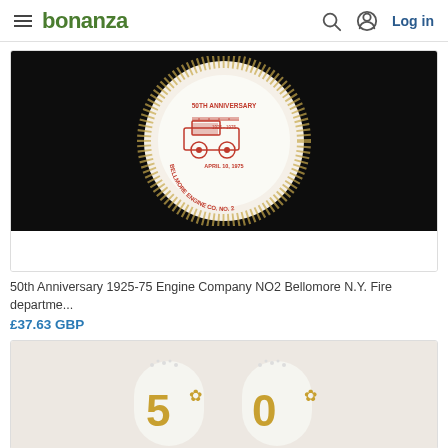bonanza | Log in
[Figure (photo): Decorative ceramic plate with gold speckle border and red illustration of a fire engine in the center. Text around the illustration reads '50th Anniversary, Bellmore Engine Co. No. 2, April 10, 1975'. Plate is on a dark/black background.]
50th Anniversary 1925-75 Engine Company NO2 Bellomore N.Y. Fire departme...
£37.63 GBP
[Figure (photo): Two white ceramic salt and pepper shakers with gold '50' numerals and decorative gold floral motifs, photographed on a light background.]